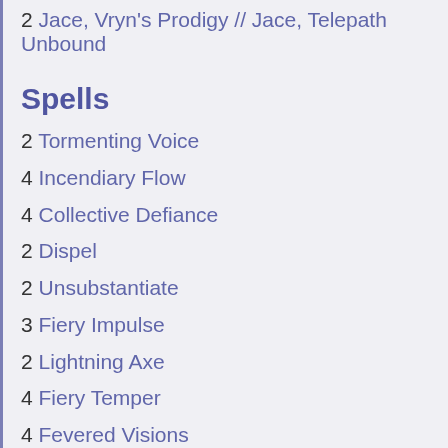2 Jace, Vryn's Prodigy // Jace, Telepath Unbound
Spells
2 Tormenting Voice
4 Incendiary Flow
4 Collective Defiance
2 Dispel
2 Unsubstantiate
3 Fiery Impulse
2 Lightning Axe
4 Fiery Temper
4 Fevered Visions
Lands
4 Wandering Fumarole